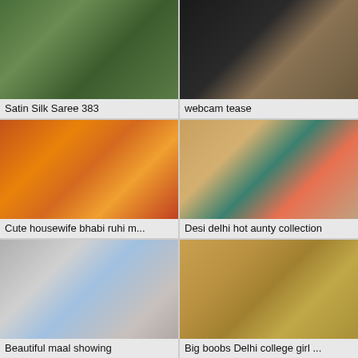[Figure (photo): Thumbnail image top left]
Satin Silk Saree 383
[Figure (photo): Thumbnail image top right]
webcam tease
[Figure (photo): Thumbnail image middle left]
Cute housewife bhabi ruhi m...
[Figure (photo): Thumbnail image middle right]
Desi delhi hot aunty collection
[Figure (photo): Thumbnail image bottom left]
Beautiful maal showing
[Figure (photo): Thumbnail image bottom right]
Big boobs Delhi college girl ...